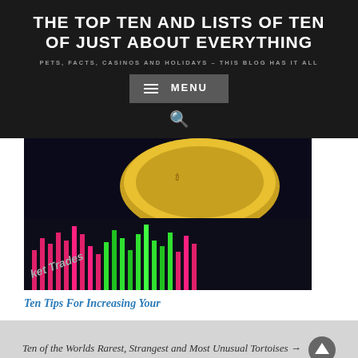THE TOP TEN AND LISTS OF TEN OF JUST ABOUT EVERYTHING
PETS, FACTS, CASINOS AND HOLIDAYS – THIS BLOG HAS IT ALL
MENU
[Figure (screenshot): A close-up photo of a smartphone or tablet screen showing a trading app with colorful bar charts (pink/red and green bars) and a coin, with text 'ket Trades' visible.]
Ten Tips For Increasing Your
Ten of the Worlds Rarest, Strangest and Most Unusual Tortoises →